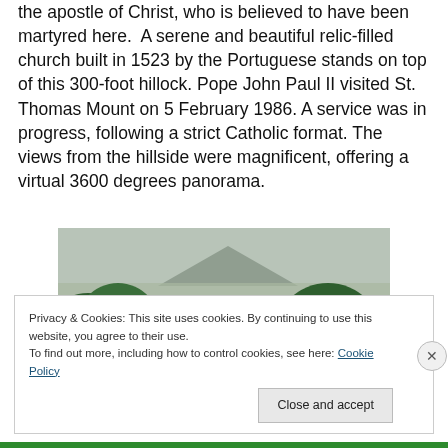the apostle of Christ, who is believed to have been martyred here.  A serene and beautiful relic-filled church built in 1523 by the Portuguese stands on top of this 300-foot hillock. Pope John Paul II visited St. Thomas Mount on 5 February 1986. A service was in progress, following a strict Catholic format. The views from the hillside were magnificent, offering a virtual 3600 degrees panorama.
[Figure (photo): Landscape photograph showing a panoramic view from a hillside with lush green trees in the foreground and middle ground, and a mountain/hill visible in the hazy background, consistent with a view from St. Thomas Mount.]
Privacy & Cookies: This site uses cookies. By continuing to use this website, you agree to their use.
To find out more, including how to control cookies, see here: Cookie Policy
Close and accept